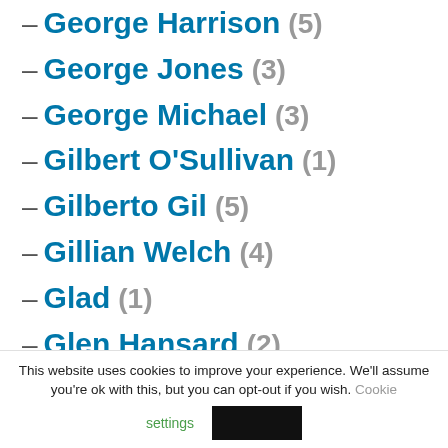– George Harrison (5)
– George Jones (3)
– George Michael (3)
– Gilbert O'Sullivan (1)
– Gilberto Gil (5)
– Gillian Welch (4)
– Glad (1)
– Glen Hansard (2)
This website uses cookies to improve your experience. We'll assume you're ok with this, but you can opt-out if you wish. Cookie settings